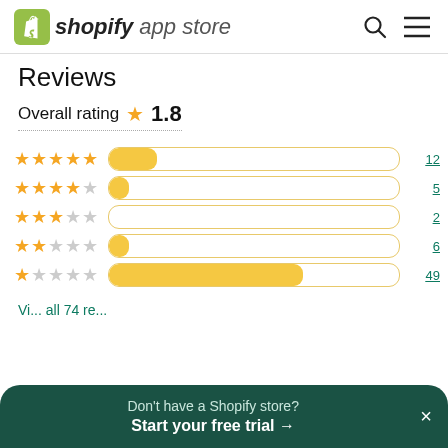shopify app store
Reviews
Overall rating ★ 1.8
[Figure (bar-chart): Rating distribution]
Vi... all 74 re...
Don't have a Shopify store? Start your free trial →